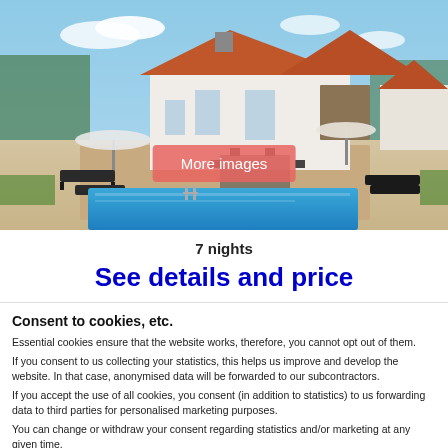[Figure (photo): Aerial view of a Mediterranean-style white villa with orange/terracotta roof, outdoor patio with dining furniture and umbrella, swimming pool, sun loungers, and green garden. Blue sky background. A pink 'More images' button overlay is visible in the center.]
7 nights
See details and price
Consent to cookies, etc.
Essential cookies ensure that the website works, therefore, you cannot opt out of them.
If you consent to us collecting your statistics, this helps us improve and develop the website. In that case, anonymised data will be forwarded to our subcontractors.
If you accept the use of all cookies, you consent (in addition to statistics) to us forwarding data to third parties for personalised marketing purposes.
You can change or withdraw your consent regarding statistics and/or marketing at any given time.
Only essential | Essential and statistics | All
Show details